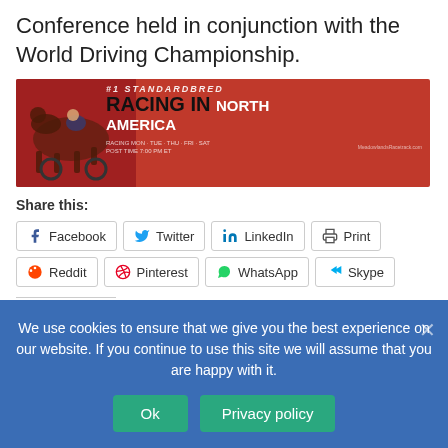Conference held in conjunction with the World Driving Championship.
[Figure (illustration): Red advertisement banner for Meadowlands Racetrack showing a standardbred harness racing horse and driver with text '#1 STANDARDBRED RACING IN NORTH AMERICA' and schedule info 'RACING MON · TUE · THU · FRI · SAT POST TIME 7:00 PM ET']
Share this:
Facebook
Twitter
LinkedIn
Print
Reddit
Pinterest
WhatsApp
Skype
We use cookies to ensure that we give you the best experience on our website. If you continue to use this site we will assume that you are happy with it.